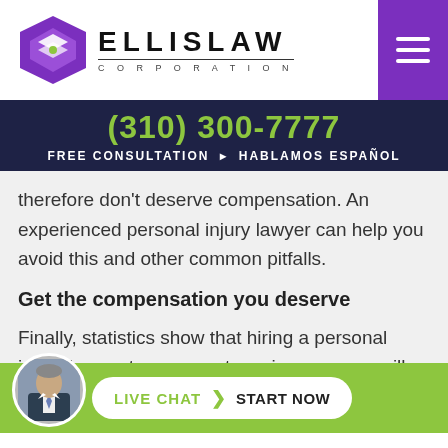[Figure (logo): Ellis Law Corporation logo with purple diamond/arrow icon and bold ELLISLAW text with CORPORATION below]
(310) 300-7777
FREE CONSULTATION · HABLAMOS ESPAÑOL
therefore don't deserve compensation. An experienced personal injury lawyer can help you avoid this and other common pitfalls.
Get the compensation you deserve
Finally, statistics show that hiring a personal injury lawyer to represent you in your case will increase the likelihood of your compensation and the